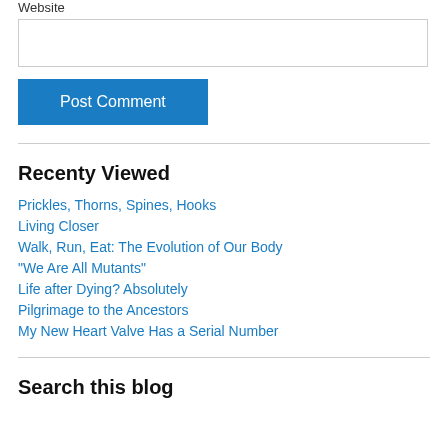Website
[input box]
Post Comment
Recenty Viewed
Prickles, Thorns, Spines, Hooks
Living Closer
Walk, Run, Eat: The Evolution of Our Body
"We Are All Mutants"
Life after Dying? Absolutely
Pilgrimage to the Ancestors
My New Heart Valve Has a Serial Number
Search this blog